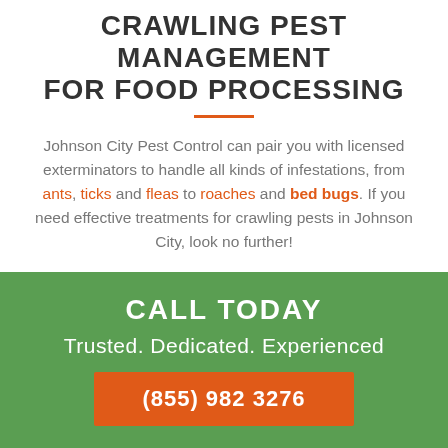CRAWLING PEST MANAGEMENT FOR FOOD PROCESSING
Johnson City Pest Control can pair you with licensed exterminators to handle all kinds of infestations, from ants, ticks and fleas to roaches and bed bugs. If you need effective treatments for crawling pests in Johnson City, look no further!
CALL TODAY
Trusted. Dedicated. Experienced
(855) 982 3276